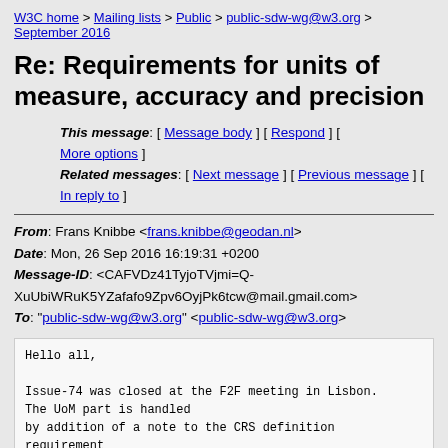W3C home > Mailing lists > Public > public-sdw-wg@w3.org > September 2016
Re: Requirements for units of measure, accuracy and precision
This message: [ Message body ] [ Respond ] [ More options ]
Related messages: [ Next message ] [ Previous message ] [ In reply to ]
From: Frans Knibbe <frans.knibbe@geodan.nl>
Date: Mon, 26 Sep 2016 16:19:31 +0200
Message-ID: <CAFVDz41TyjoTVjmi=Q-XuUbiWRuK5YZafafo9Zpv6OyjPk6tcw@mail.gmail.com>
To: "public-sdw-wg@w3.org" <public-sdw-wg@w3.org>
Hello all,

Issue-74 was closed at the F2F meeting in Lisbon. The UoM part is handled
by addition of a note to the CRS definition requirement